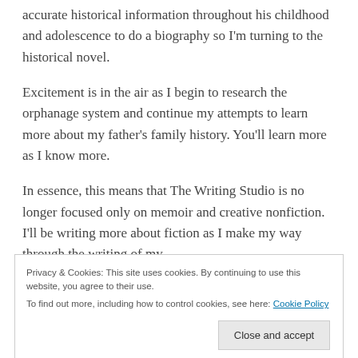accurate historical information throughout his childhood and adolescence to do a biography so I'm turning to the historical novel.
Excitement is in the air as I begin to research the orphanage system and continue my attempts to learn more about my father's family history. You'll learn more as I know more.
In essence, this means that The Writing Studio is no longer focused only on memoir and creative nonfiction. I'll be writing more about fiction as I make my way through the writing of my
Privacy & Cookies: This site uses cookies. By continuing to use this website, you agree to their use.
To find out more, including how to control cookies, see here: Cookie Policy
Close and accept
LOOKING FOR SOMETHING?